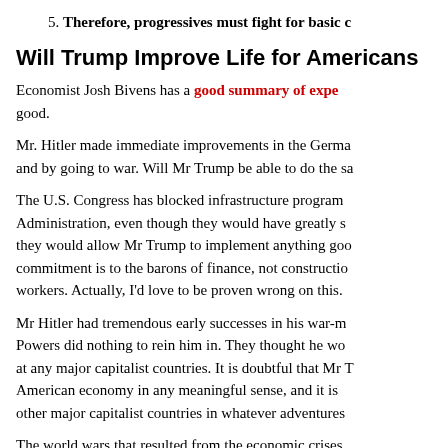5. Therefore, progressives must fight for basic c
Will Trump Improve Life for Americans
Economist Josh Bivens has a good summary of expe good.
Mr. Hitler made immediate improvements in the Germa and by going to war. Will Mr Trump be able to do the sa
The U.S. Congress has blocked infrastructure program Administration, even though they would have greatly s they would allow Mr Trump to implement anything goo commitment is to the barons of finance, not constructio workers. Actually, I'd love to be proven wrong on this.
Mr Hitler had tremendous early successes in his war-m Powers did nothing to rein him in. They thought he wo at any major capitalist countries. It is doubtful that Mr T American economy in any meaningful sense, and it is other major capitalist countries in whatever adventures
The world wars that resulted from the economic crises as a “solution” to economic and political crisis today, be
Capitalist economies have always suffered from phase